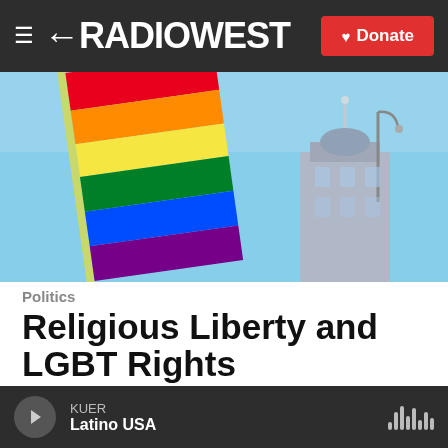≡ ←RADIOWEST  ♥ Donate
[Figure (photo): A rainbow pride flag flying against a clear blue sky, with a building structure visible in the background]
Politics
Religious Liberty and LGBT Rights
Doug Fabrizio,  February 4, 2015
Last week, the Church of Jesus Christ of Latter-day Saints made headlines by announcing its support of
KUER  Latino USA